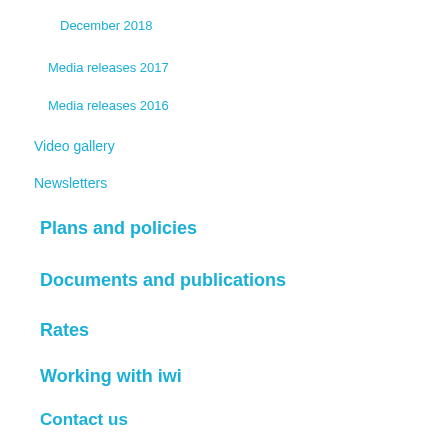December 2018
Media releases 2017
Media releases 2016
Video gallery
Newsletters
Plans and policies
Documents and publications
Rates
Working with iwi
Contact us
Procurement